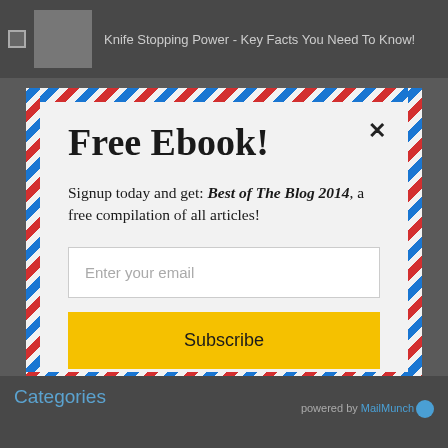Knife Stopping Power - Key Facts You Need To Know!
Free Ebook!
Signup today and get: Best of The Blog 2014, a free compilation of all articles!
Enter your email
Subscribe
And don't worry, we hate spam too! You can unsubscribe at anytime.
Categories
powered by MailMunch